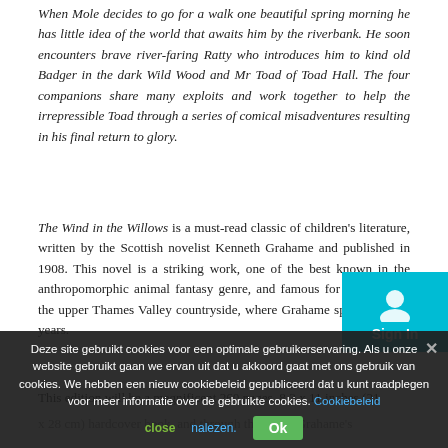When Mole decides to go for a walk one beautiful spring morning he has little idea of the world that awaits him by the riverbank. He soon encounters brave river-faring Ratty who introduces him to kind old Badger in the dark Wild Wood and Mr Toad of Toad Hall. The four companions share many exploits and work together to help the irrepressible Toad through a series of comical misadventures resulting in his final return to glory.
The Wind in the Willows is a must-read classic of children's literature, written by the Scottish novelist Kenneth Grahame and published in 1908. This novel is a striking work, one of the best known in the anthropomorphic animal fantasy genre, and famous for being set in the upper Thames Valley countryside, where Grahame spent his final years.
This edition will be a magnificent 260 pages, 8.3 x 11 inches (21
x 28 cm) hardcover book, and through the pages Grahame's
Deze site gebruikt cookies voor een optimale gebruikerservaring. Als u onze website gebruikt gaan we ervan uit dat u akkoord gaat met ons gebruik van cookies. We hebben een nieuw cookiebeleid gepubliceerd dat u kunt raadplegen voor meer informatie over de gebruikte cookies. Cookiebeleid nalezen.